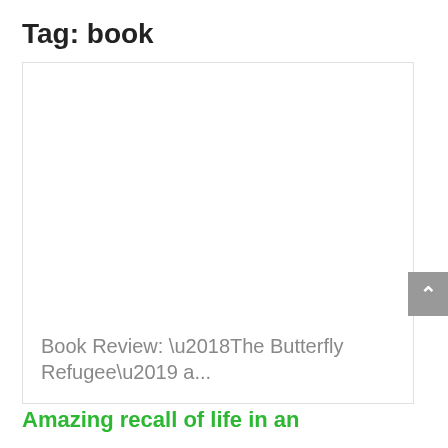Tag: book
Book Review: ‘The Butterfly Refugee’ a...
Amazing recall of life in an